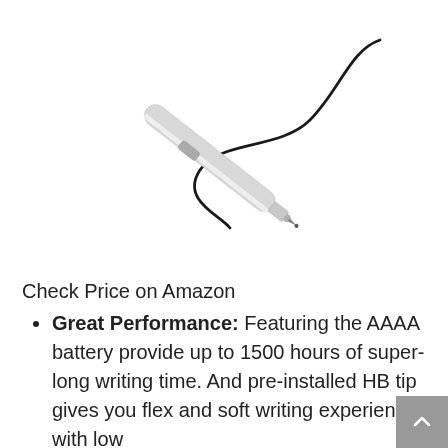[Figure (photo): A silver stylus pen with a button on the side, angled diagonally, with a flowing black ink line drawn from the tip creating a curved swirl pattern on a white background.]
Check Price on Amazon
Great Performance: Featuring the AAAA battery provide up to 1500 hours of super-long writing time. And pre-installed HB tip gives you flex and soft writing experience with low